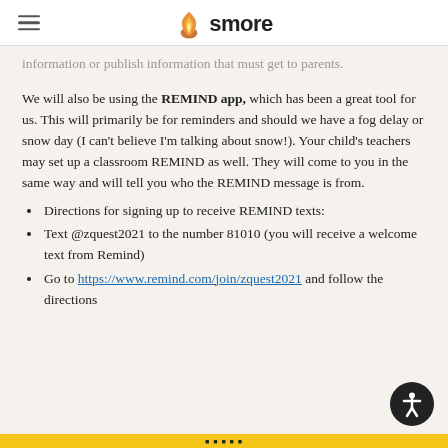smore
…information or publish information that must get to parents.
We will also be using the REMIND app, which has been a great tool for us. This will primarily be for reminders and should we have a fog delay or snow day (I can't believe I'm talking about snow!). Your child's teachers may set up a classroom REMIND as well. They will come to you in the same way and will tell you who the REMIND message is from.
Directions for signing up to receive REMIND texts:
Text @zquest2021 to the number 81010 (you will receive a welcome text from Remind)
Go to https://www.remind.com/join/zquest2021 and follow the directions